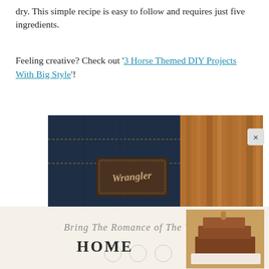dry. This simple recipe is easy to follow and requires just five ingredients.
Feeling creative? Check out '3 Horse Themed DIY Projects With Big Style'!
[Figure (photo): Close-up of Wrangler jeans back pocket with leather logo patch, with fringed leather vest visible to the right. Text overlay reads 'WHAT A RIDE' in large bold white letters at the bottom.]
[Figure (photo): Advertisement banner showing cursive text 'Bring The Romance of The West HOME' with a tiered cake decorated in western style on the right side.]